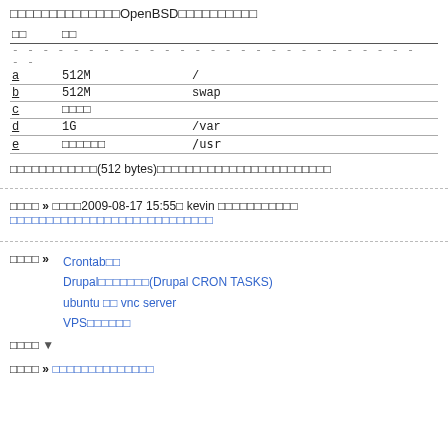□□□□□□□□□□□□□□OpenBSD□□□□□□□□□□
| □□ | □□ |  |
| --- | --- | --- |
| a | 512M | / |
| b | 512M | swap |
| c | □□□□ |  |
| d | 1G | /var |
| e | □□□□□□ | /usr |
□□□□□□□□□□□□(512 bytes)□□□□□□□□□□□□□□□□□□□□□□□□
□□□□ » □□□□2009-08-17 15:55□ kevin □□□□□□□□□□□ □□□□□□□□□□□□□□□□□□□□□□□□□□□□
Crontab□□
Drupal□□□□□□□(Drupal CRON TASKS)
ubuntu □□ vnc server
VPS□□□□□□
□□□□ ▼
□□□□ » □□□□□□□□□□□□□□